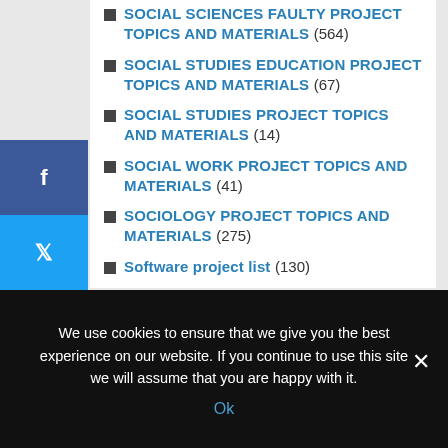SOCIAL SCIENCES FAULTY PROJECT TOPICS AND MATERIALS (564)
SOCIAL STUDIES EDUCATION PROJECT TOPICS AND MATERIALS (67)
SOCIAL STUDIES PROJECT TOPICS AND MATERIALS (14)
SOCIAL WORK PROJECT TOPICS AND MATERIALS (41)
SOCIOLOGY PROJECT TOPICS AND MATERIALS (275)
Software project list (130)
SOIL SCIENCE PROJECT TOPICS AND MATERIALS (25)
SPECIAL EDUCATION PROJECT TOPICS
We use cookies to ensure that we give you the best experience on our website. If you continue to use this site we will assume that you are happy with it.
Ok